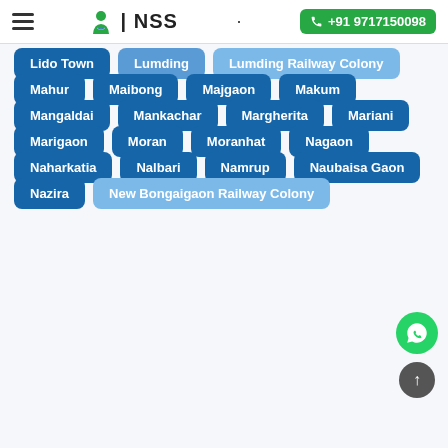NSS | +91 9717150098
Lido Town
Lumding
Lumding Railway Colony
Mahur
Maibong
Majgaon
Makum
Mangaldai
Mankachar
Margherita
Mariani
Marigaon
Moran
Moranhat
Nagaon
Naharkatia
Nalbari
Namrup
Naubaisa Gaon
Nazira
New Bongaigaon Railway Colony